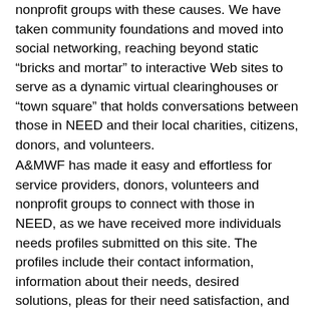nonprofit groups with these causes. We have taken community foundations and moved into social networking, reaching beyond static “bricks and mortar” to interactive Web sites to serve as a dynamic virtual clearinghouses or “town square” that holds conversations between those in NEED and their local charities, citizens, donors, and volunteers.
A&MWF has made it easy and effortless for service providers, donors, volunteers and nonprofit groups to connect with those in NEED, as we have received more individuals needs profiles submitted on this site. The profiles include their contact information, information about their needs, desired solutions, pleas for their need satisfaction, and a listing of opportunities to achieve their solution. We also have profiles submitted of individuals as prospective donors or volunteers, include information about the causes that interest them.
If you or someone that you know needs Quality of Life Aid, PLEASE fill out the form below so that we can